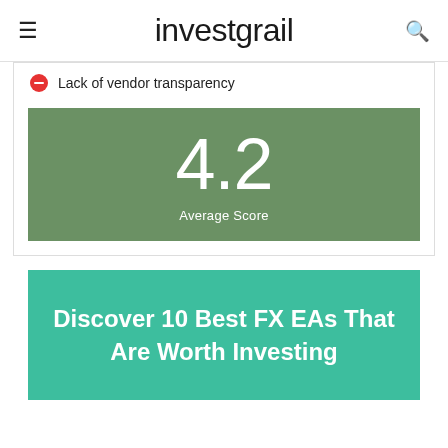investgrail
Lack of vendor transparency
[Figure (infographic): Green score box showing '4.2 Average Score']
[Figure (infographic): Teal/green banner with text 'Discover 10 Best FX EAs That Are Worth Investing']